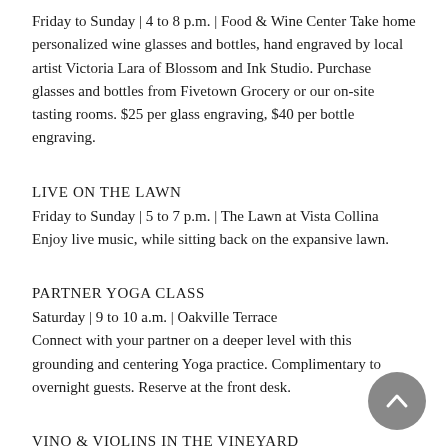Friday to Sunday | 4 to 8 p.m. | Food & Wine Center Take home personalized wine glasses and bottles, hand engraved by local artist Victoria Lara of Blossom and Ink Studio. Purchase glasses and bottles from Fivetown Grocery or our on-site tasting rooms. $25 per glass engraving, $40 per bottle engraving.
LIVE ON THE LAWN
Friday to Sunday | 5 to 7 p.m. | The Lawn at Vista Collina Enjoy live music, while sitting back on the expansive lawn.
PARTNER YOGA CLASS
Saturday | 9 to 10 a.m. | Oakville Terrace Connect with your partner on a deeper level with this grounding and centering Yoga practice. Complimentary to overnight guests. Reserve at the front desk.
VINO & VIOLINS IN THE VINEYARD
Saturday and Sunday | 11 a.m. to 12 p.m. | Vineyard Deck